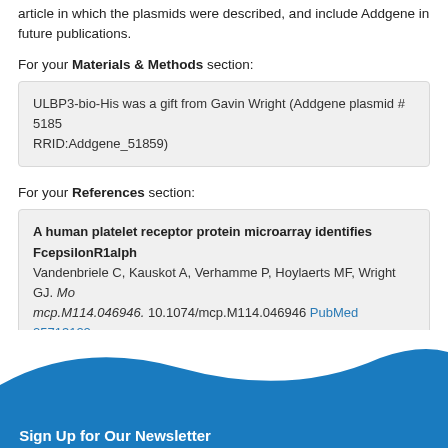article in which the plasmids were described, and include Addgene in future publications.
For your Materials & Methods section:
ULBP3-bio-His was a gift from Gavin Wright (Addgene plasmid # 51859 ; RRID:Addgene_51859)
For your References section:
A human platelet receptor protein microarray identifies FcepsilonR1alph... Vandenbriele C, Kauskot A, Verhamme P, Hoylaerts MF, Wright GJ. Mo... mcp.M114.046946. 10.1074/mcp.M114.046946 PubMed 25713122
Sign Up for Our Newsletter